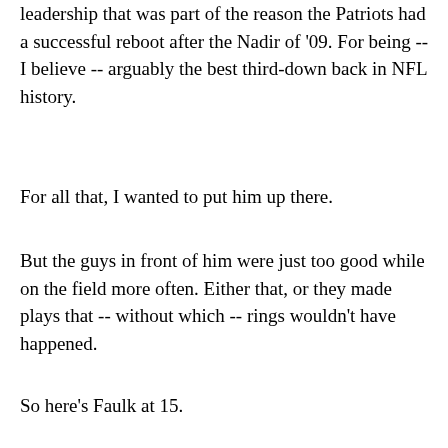leadership that was part of the reason the Patriots had a successful reboot after the Nadir of '09. For being -- I believe -- arguably the best third-down back in NFL history.
For all that, I wanted to put him up there.
But the guys in front of him were just too good while on the field more often. Either that, or they made plays that -- without which -- rings wouldn't have happened.
So here's Faulk at 15.